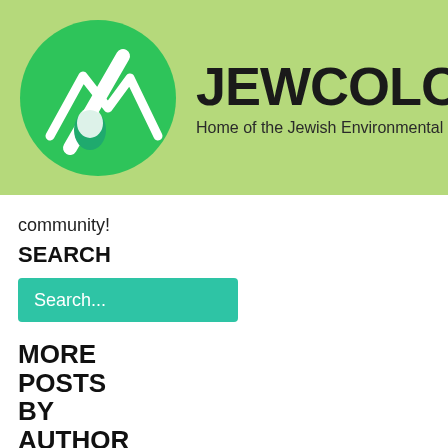[Figure (logo): Jewcology.org logo with green circle containing a mountain/leaf/water drop icon, and site name JEWCOLOGY.ORG with subtitle Home of the Jewish Environmental Movement]
community!
SEARCH
[Figure (other): Green search input box with placeholder text 'Search...']
MORE POSTS BY AUTHOR
see all posts by
Owner of
Jewcology Team »
Following Jewcology
Posted on November 03,2010